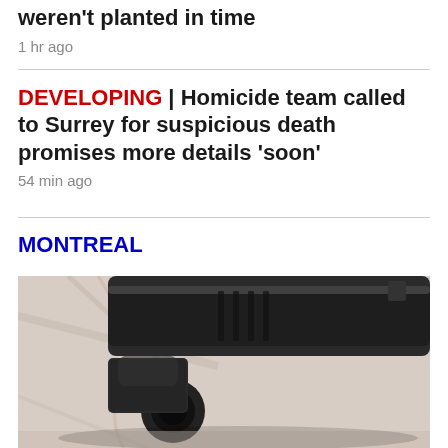weren't planted in time
1 hr ago
DEVELOPING | Homicide team called to Surrey for suspicious death promises more details 'soon'
54 min ago
MONTREAL
[Figure (photo): Close-up photograph of a black handgun barrel on a light marble surface, viewed from the front/muzzle end]